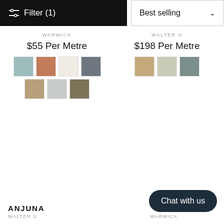[Figure (screenshot): Filter button (black bar) with filter icon and text 'Filter (1)']
[Figure (screenshot): Sort dropdown showing 'Best selling' with chevron]
WARWICK
$55 Per Metre
[Figure (other): 7 fabric swatches for Warwick product: blue, red/terracotta, cream, dark gray patterned, tan, light gray, olive]
WALTER G
$198 Per Metre
[Figure (other): 3 fabric swatches for Walter G product: tan/gold, sage green, teal/navy]
ANJUNA
WALTER G
WARWICK
[Figure (other): Chat with us button (dark navy pill shape)]